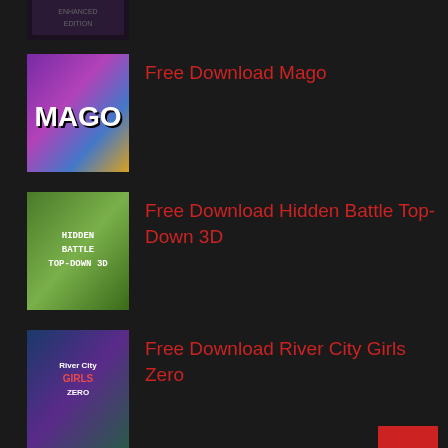[Figure (screenshot): Game thumbnail for Soulslike Enhanced Edition - dark fantasy game cover]
Free Download Mago
[Figure (screenshot): Game thumbnail for Mago - colorful pixel art style with purple and blue colors]
Free Download Hidden Battle Top-Down 3D
[Figure (screenshot): Game thumbnail for Hidden Battle Top-Down 3D - aerial view with green foliage]
Free Download River City Girls Zero
[Figure (screenshot): Game thumbnail for River City Girls Zero - side-scrolling beat em up]
Free Download New Year's Eve Miracle
[Figure (screenshot): Game thumbnail for New Year's Eve Miracle]